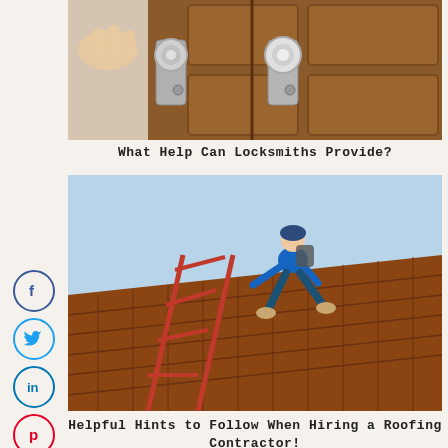[Figure (photo): Close-up photo of a hand turning a door knob on a wooden door with metal door hardware and locks]
What Help Can Locksmiths Provide?
[Figure (photo): Photo of a roofer in blue clothes climbing on a roof with red scaffolding/ladder structure]
Helpful Hints to Follow When Hiring a Roofing Contractor!